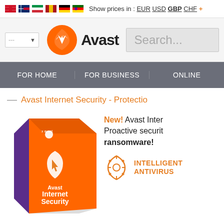Show prices in : EUR USD GBP CHF +
[Figure (logo): Avast logo with orange bird icon and bold 'Avast' text]
Search...
FOR HOME | FOR BUSINESS | ONLINE
— Avast Internet Security - Protectio
[Figure (photo): Avast Internet Security product box, orange with shield icon]
New! Avast Inter Proactive securit ransomware!
INTELLIGENT ANTIVIRUS